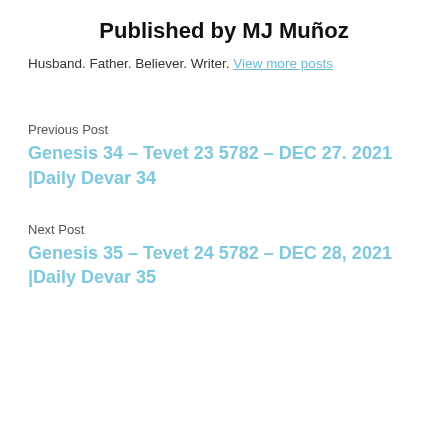Published by MJ Muñoz
Husband. Father. Believer. Writer. View more posts
Previous Post
Genesis 34 – Tevet 23 5782 – DEC 27. 2021 |Daily Devar 34
Next Post
Genesis 35 – Tevet 24 5782 – DEC 28, 2021 |Daily Devar 35